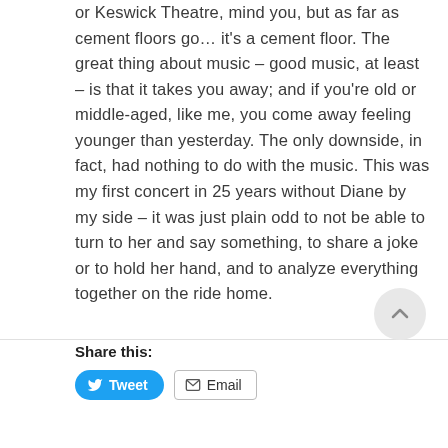or Keswick Theatre, mind you, but as far as cement floors go… it's a cement floor. The great thing about music – good music, at least – is that it takes you away; and if you're old or middle-aged, like me, you come away feeling younger than yesterday. The only downside, in fact, had nothing to do with the music. This was my first concert in 25 years without Diane by my side – it was just plain odd to not be able to turn to her and say something, to share a joke or to hold her hand, and to analyze everything together on the ride home.
Share this: